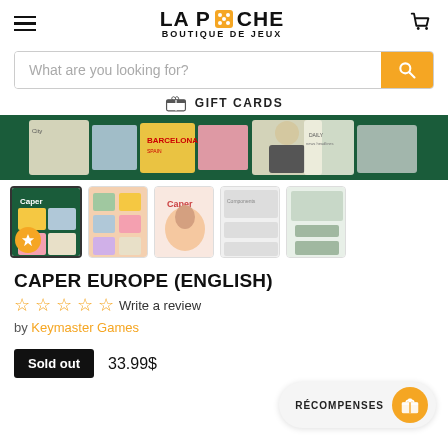[Figure (logo): La Pioche Boutique de Jeux logo with dice icon]
What are you looking for?
GIFT CARDS
[Figure (photo): Caper Europe board game box banner image showing cards and components on green background]
[Figure (photo): Thumbnail images of Caper Europe game components and box]
CAPER EUROPE (ENGLISH)
Write a review
by Keymaster Games
Sold out
33.99$
RÉCOMPENSES